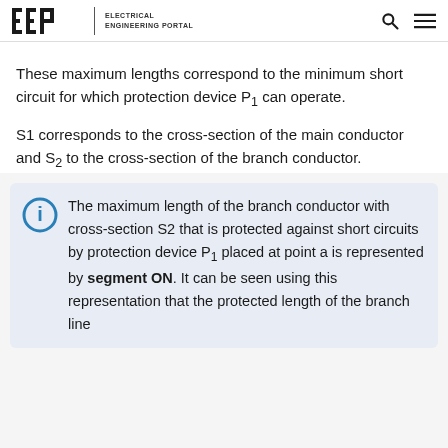EEP | ELECTRICAL ENGINEERING PORTAL
These maximum lengths correspond to the minimum short circuit for which protection device P1 can operate.
S1 corresponds to the cross-section of the main conductor and S2 to the cross-section of the branch conductor.
The maximum length of the branch conductor with cross-section S2 that is protected against short circuits by protection device P1 placed at point a is represented by segment ON. It can be seen using this representation that the protected length of the branch line